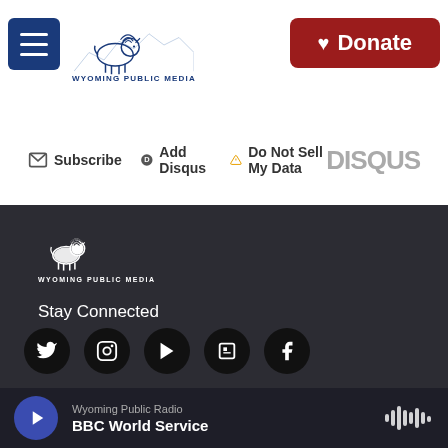[Figure (logo): Wyoming Public Media logo with bison and mountain skyline, with hamburger menu button and Donate button]
Subscribe  Add Disqus  Do Not Sell My Data    DISQUS
[Figure (logo): Wyoming Public Media footer logo with white bison]
Stay Connected
[Figure (infographic): Social media icons: Twitter, Instagram, YouTube, Flipboard, Facebook]
© 2022 Wyoming Public Media
800-729-5897 | 307-766-4240
Wyoming Public Media is a service of the University of Wyoming
Wyoming Public Radio
BBC World Service